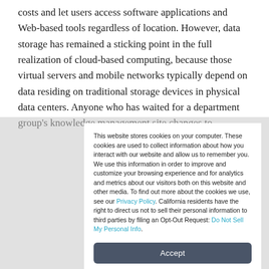costs and let users access software applications and Web-based tools regardless of location. However, data storage has remained a sticking point in the full realization of cloud-based computing, because those virtual servers and mobile networks typically depend on data residing on traditional storage devices in physical data centers. Anyone who has waited for a department group's knowledge management site changes to
This website stores cookies on your computer. These cookies are used to collect information about how you interact with our website and allow us to remember you. We use this information in order to improve and customize your browsing experience and for analytics and metrics about our visitors both on this website and other media. To find out more about the cookies we use, see our Privacy Policy. California residents have the right to direct us not to sell their personal information to third parties by filing an Opt-Out Request: Do Not Sell My Personal Info.